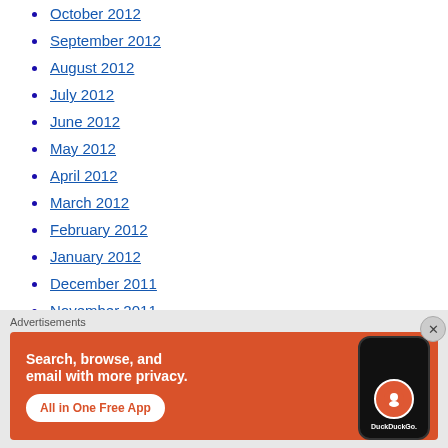October 2012
September 2012
August 2012
July 2012
June 2012
May 2012
April 2012
March 2012
February 2012
January 2012
December 2011
November 2011
Advertisements
[Figure (screenshot): DuckDuckGo advertisement banner: Search, browse, and email with more privacy. All in One Free App. Shows DuckDuckGo logo on a phone on an orange/red background.]